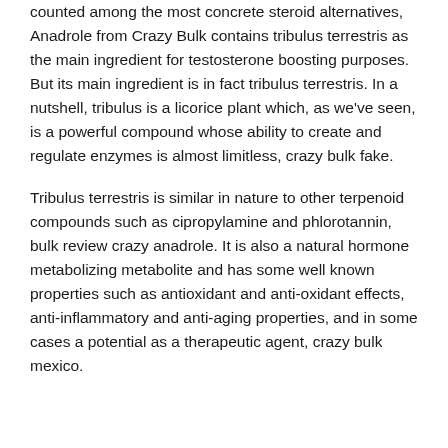counted among the most concrete steroid alternatives, Anadrole from Crazy Bulk contains tribulus terrestris as the main ingredient for testosterone boosting purposes. But its main ingredient is in fact tribulus terrestris. In a nutshell, tribulus is a licorice plant which, as we've seen, is a powerful compound whose ability to create and regulate enzymes is almost limitless, crazy bulk fake.
Tribulus terrestris is similar in nature to other terpenoid compounds such as cipropylamine and phlorotannin, bulk review crazy anadrole. It is also a natural hormone metabolizing metabolite and has some well known properties such as antioxidant and anti-oxidant effects, anti-inflammatory and anti-aging properties, and in some cases a potential as a therapeutic agent, crazy bulk mexico.